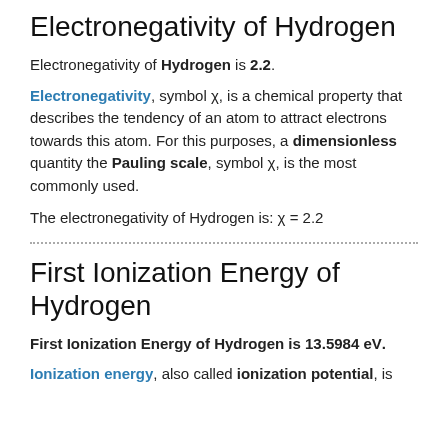Electronegativity of Hydrogen
Electronegativity of Hydrogen is 2.2.
Electronegativity, symbol χ, is a chemical property that describes the tendency of an atom to attract electrons towards this atom. For this purposes, a dimensionless quantity the Pauling scale, symbol χ, is the most commonly used.
The electronegativity of Hydrogen is: χ = 2.2
First Ionization Energy of Hydrogen
First Ionization Energy of Hydrogen is 13.5984 eV.
Ionization energy, also called ionization potential, is